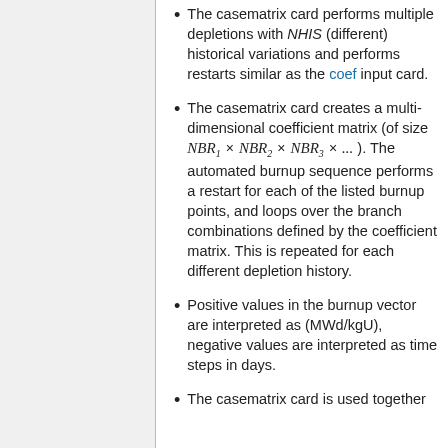The casematrix card performs multiple depletions with NHIS (different) historical variations and performs restarts similar as the coef input card.
The casematrix card creates a multi-dimensional coefficient matrix (of size NBR_1 × NBR_2 × NBR_3 × ... ). The automated burnup sequence performs a restart for each of the listed burnup points, and loops over the branch combinations defined by the coefficient matrix. This is repeated for each different depletion history.
Positive values in the burnup vector are interpreted as (MWd/kgU), negative values are interpreted as time steps in days.
The casematrix card is used together